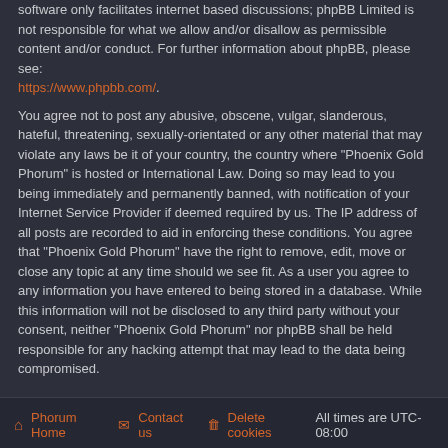software only facilitates internet based discussions; phpBB Limited is not responsible for what we allow and/or disallow as permissible content and/or conduct. For further information about phpBB, please see: https://www.phpbb.com/.
You agree not to post any abusive, obscene, vulgar, slanderous, hateful, threatening, sexually-orientated or any other material that may violate any laws be it of your country, the country where "Phoenix Gold Phorum" is hosted or International Law. Doing so may lead to you being immediately and permanently banned, with notification of your Internet Service Provider if deemed required by us. The IP address of all posts are recorded to aid in enforcing these conditions. You agree that "Phoenix Gold Phorum" have the right to remove, edit, move or close any topic at any time should we see fit. As a user you agree to any information you have entered to being stored in a database. While this information will not be disclosed to any third party without your consent, neither "Phoenix Gold Phorum" nor phpBB shall be held responsible for any hacking attempt that may lead to the data being compromised.
Phorum Home | Contact us | Delete cookies | All times are UTC-08:00
Powered by phpBB® Forum Software © phpBB Limited | Prosilver Dark Edition by Premium phpBB Styles | Privacy | Terms